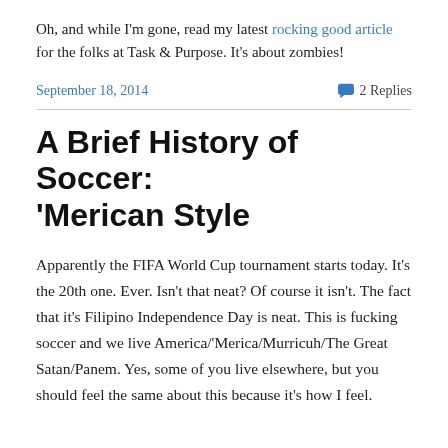Oh, and while I'm gone, read my latest rocking good article for the folks at Task & Purpose. It's about zombies!
September 18, 2014   💬 2 Replies
A Brief History of Soccer: 'Merican Style
Apparently the FIFA World Cup tournament starts today. It's the 20th one. Ever. Isn't that neat? Of course it isn't. The fact that it's Filipino Independence Day is neat. This is fucking soccer and we live America/'Merica/Murricuh/The Great Satan/Panem. Yes, some of you live elsewhere, but you should feel the same about this because it's how I feel.